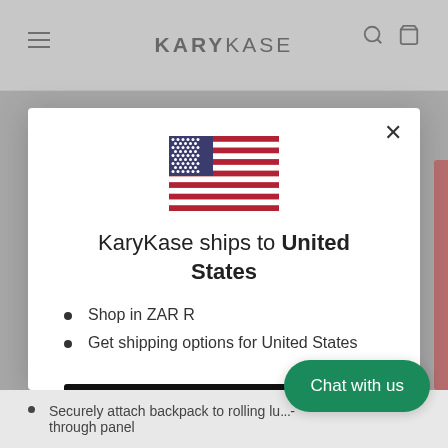KARYKASE
[Figure (screenshot): Modal dialog overlay on KaryKase website showing shipping country selector for United States with US flag, bullet points, and Shop now button]
KaryKase ships to United States
Shop in ZAR R
Get shipping options for United States
Shop now
Change shipping country
Securely attach backpack to rolling lu... through panel
Chat with us